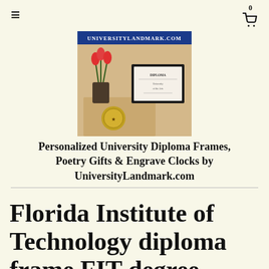≡  [cart icon] 0
[Figure (logo): UniversityLandmark.com logo with tulips and framed diploma]
Personalized University Diploma Frames, Poetry Gifts & Engrave Clocks by UniversityLandmark.com
Florida Institute of Technology diploma frame FIT degree frames school picture framing campus certificate gift graduation